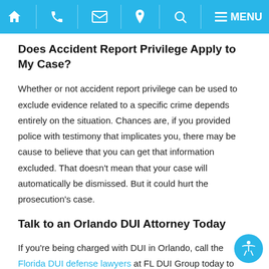Navigation bar with home, phone, email, location, search, and menu icons
Does Accident Report Privilege Apply to My Case?
Whether or not accident report privilege can be used to exclude evidence related to a specific crime depends entirely on the situation. Chances are, if you provided police with testimony that implicates you, there may be cause to believe that you can get that information excluded. That doesn't mean that your case will automatically be dismissed. But it could hurt the prosecution's case.
Talk to an Orlando DUI Attorney Today
If you're being charged with DUI in Orlando, call the Florida DUI defense lawyers at FL DUI Group today to learn more about how we can protect your license and